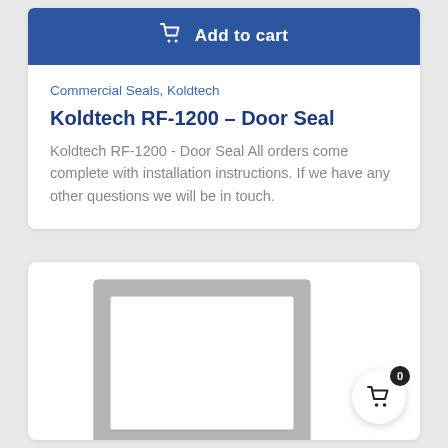Add to cart
Commercial Seals, Koldtech
Koldtech RF-1200 – Door Seal
Koldtech RF-1200 - Door Seal All orders come complete with installation instructions. If we have any other questions we will be in touch.
[Figure (photo): Product photo of a door seal gasket shown as a rectangular grey-framed seal on white background]